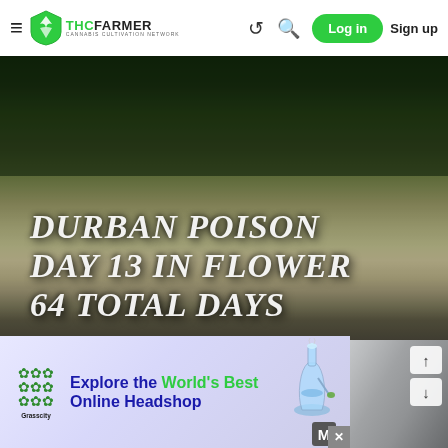THCFarmer - Cannabis Cultivation Network | Log in | Sign up
[Figure (photo): Cannabis plant in a grow tent, viewed from above, with overlaid text reading DURBAN POISON DAY 13 IN FLOWER 64 TOTAL DAYS]
[Figure (photo): Cannabis flower bud against shiny silver/mylar background with up and down navigation arrows on the right side]
[Figure (infographic): Grasscity advertisement banner: Explore the World's Best Online Headshop, with bong illustration and Grasscity logo]